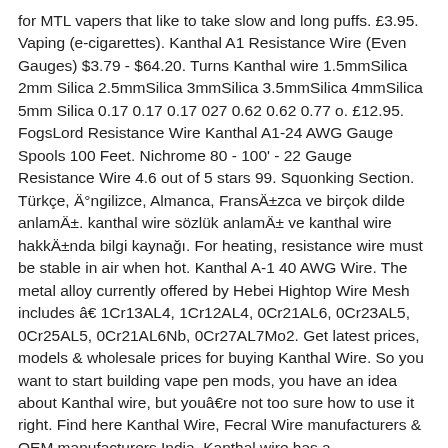for MTL vapers that like to take slow and long puffs. £3.95. Vaping (e-cigarettes). Kanthal A1 Resistance Wire (Even Gauges) $3.79 - $64.20. Turns Kanthal wire 1.5mmSilica 2mm Silica 2.5mmSilica 3mmSilica 3.5mmSilica 4mmSilica 5mm Silica 0.17 0.17 0.17 027 0.62 0.62 0.77 o. £12.95. FogsLord Resistance Wire Kanthal A1-24 AWG Gauge Spools 100 Feet. Nichrome 80 - 100' - 22 Gauge Resistance Wire 4.6 out of 5 stars 99. Squonking Section. Türkçe, İngilizce, Almanca, Fransızca ve birçok dilde anlamı. kanthal wire sözlük anlamı ve kanthal wire hakkında bilgi kaynağı. For heating, resistance wire must be stable in air when hot. Kanthal A-1 40 AWG Wire. The metal alloy currently offered by Hebei Hightop Wire Mesh includes â€‍ 1Cr13AL4, 1Cr12AL4, 0Cr21AL6, 0Cr23AL5, 0Cr25AL5, 0Cr21AL6Nb, 0Cr27AL7Mo2. Get latest prices, models & wholesale prices for buying Kanthal Wire. So you want to start building vape pen mods, you have an idea about Kanthal wire, but youâ€‍re not too sure how to use it right. Find here Kanthal Wire, Fecral Wire manufacturers & OEM manufacturers India. Kanthal wire has a